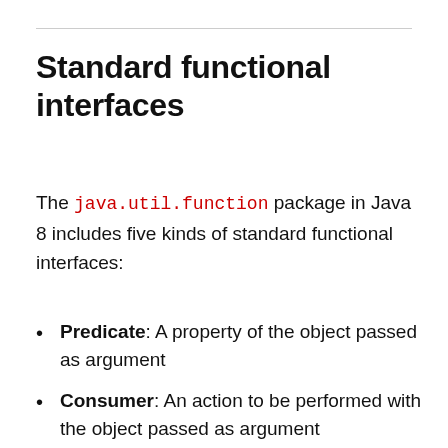Standard functional interfaces
The java.util.function package in Java 8 includes five kinds of standard functional interfaces:
Predicate: A property of the object passed as argument
Consumer: An action to be performed with the object passed as argument
Function: Transform a T to a U